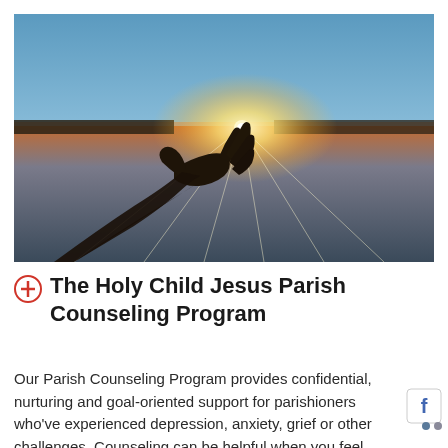[Figure (photo): A hand reaching up toward a bright sun over a calm reflective lake at sunset/sunrise. The sky transitions from blue at top to warm golden tones near the horizon. The hand is silhouetted from below, fingers spread open toward the light.]
The Holy Child Jesus Parish Counseling Program
Our Parish Counseling Program provides confidential, nurturing and goal-oriented support for parishioners who've experienced depression, anxiety, grief or other challenges. Counseling can be helpful when you feel more and or...